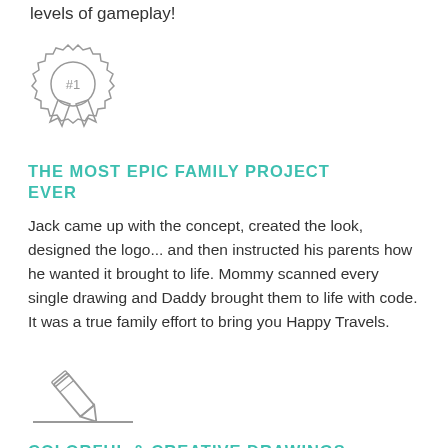levels of gameplay!
[Figure (illustration): Award ribbon icon with #1 text, drawn in gray outline style]
THE MOST EPIC FAMILY PROJECT EVER
Jack came up with the concept, created the look, designed the logo... and then instructed his parents how he wanted it brought to life. Mommy scanned every single drawing and Daddy brought them to life with code. It was a true family effort to bring you Happy Travels.
[Figure (illustration): Pencil icon with a horizontal underline, drawn in gray outline style]
COLORFUL & CREATIVE DRAWINGS
Every image in Happy Travels was